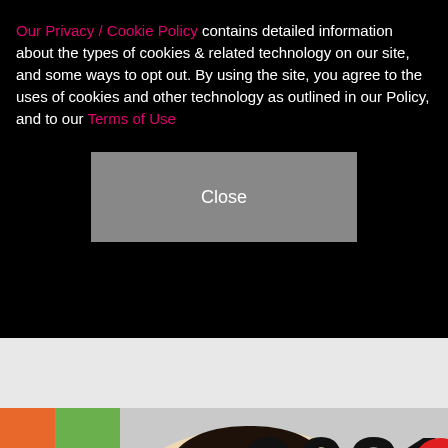Our Privacy / Cookie Policy contains detailed information about the types of cookies & related technology on our site, and some ways to opt out. By using the site, you agree to the uses of cookies and other technology as outlined in our Policy, and to our Terms of Use
[Figure (other): Close button - grey rectangular button with white text 'Close']
[Figure (photo): Photo of a person with dark hair in front of a colorful background with '2021' text. There is an X close button overlay and a green NEXT button at the bottom with 'on Newz Online' label.]